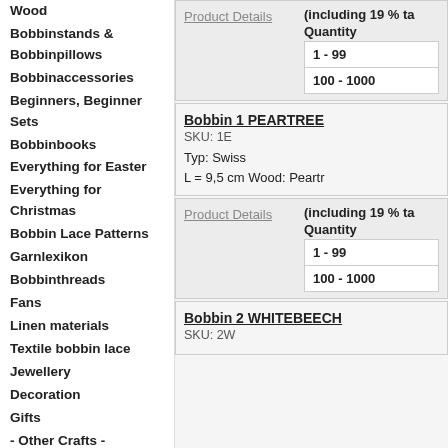Wood
Bobbinstands & Bobbinpillows
Bobbinaccessories
Beginners, Beginner Sets
Bobbinbooks
Everything for Easter
Everything for Christmas
Bobbin Lace Patterns
Garnlexikon
Bobbinthreads
Fans
Linen materials
Textile bobbin lace
Jewellery
Decoration
Gifts
- Other Crafts -
Tatting
| Product Details | (including 19 % ta | Quantity |
| --- | --- | --- |
|  |  | 1 - 99 |
|  |  | 100 - 1000 |
Bobbin 1 PEARTREE
SKU: 1E
Typ: Swiss
L = 9,5 cm Wood: Peartr
| Product Details | (including 19 % ta | Quantity |
| --- | --- | --- |
|  |  | 1 - 99 |
|  |  | 100 - 1000 |
Bobbin 2 WHITEBEECH
SKU: 2W